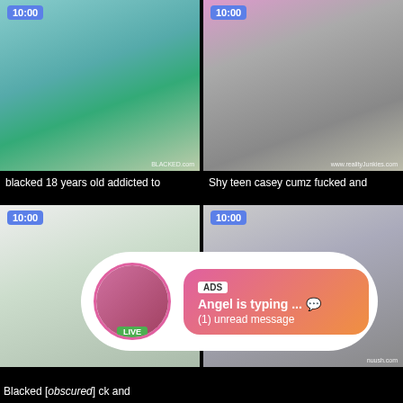[Figure (screenshot): Video thumbnail grid showing four video thumbnails with duration badges showing 10:00, with text labels and an ad overlay popup at bottom showing 'Angel is typing...' message]
blacked 18 years old addicted to
Shy teen casey cumz fucked and
Blacked [obscured] ck and
[Figure (infographic): Ad overlay: circular avatar with LIVE badge, pink gradient bubble saying 'ADS - Angel is typing ... (1) unread message']